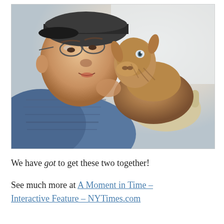[Figure (photo): A man wearing glasses, a baseball cap, and a denim jacket holds a small brown baby goat. The man and the goat are face to face, nearly nose to nose. The man is wearing work gloves. The background is white/light. The photo has a light gray border.]
We have got to get these two together!
See much more at A Moment in Time – Interactive Feature – NYTimes.com